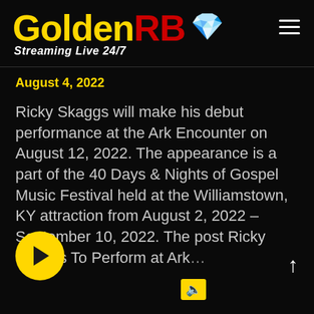GoldenRB Streaming Live 24/7
August 4, 2022
Ricky Skaggs will make his debut performance at the Ark Encounter on August 12, 2022. The appearance is a part of the 40 Days & Nights of Gospel Music Festival held at the Williamstown, KY attraction from August 2, 2022 – September 10, 2022. The post Ricky Skaggs To Perform at Ark...